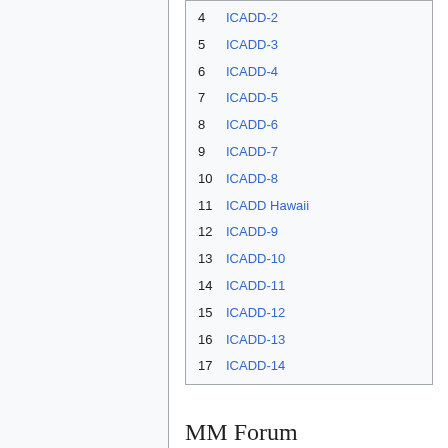4 ICADD-2
5 ICADD-3
6 ICADD-4
7 ICADD-5
8 ICADD-6
9 ICADD-7
10 ICADD-8
11 ICADD Hawaii
12 ICADD-9
13 ICADD-10
14 ICADD-11
15 ICADD-12
16 ICADD-13
17 ICADD-14
MM Forum
Working Forum on the manifold Method of Material Analysis